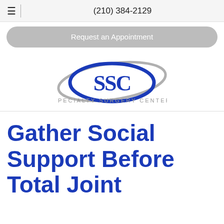(210) 384-2129
Request an Appointment
[Figure (logo): SSC Specialty Surgery Center logo with blue oval and gray swoop design]
Gather Social Support Before Total Joint